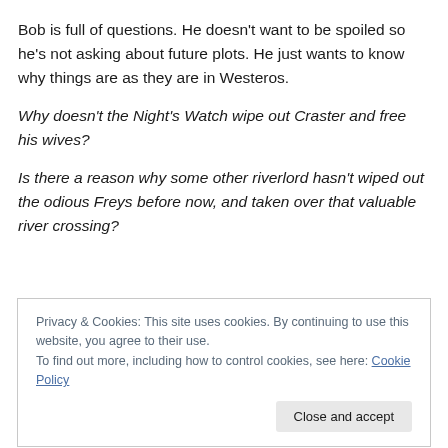Bob is full of questions. He doesn’t want to be spoiled so he’s not asking about future plots. He just wants to know why things are as they are in Westeros.
Why doesn’t the Night’s Watch wipe out Craster and free his wives?
Is there a reason why some other riverlord hasn’t wiped out the odious Freys before now, and taken over that valuable river crossing?
Privacy & Cookies: This site uses cookies. By continuing to use this website, you agree to their use.
To find out more, including how to control cookies, see here: Cookie Policy